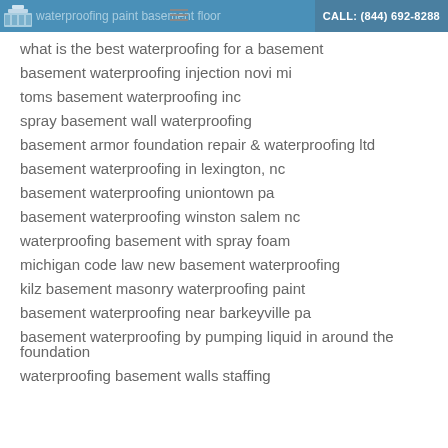waterproofing paint basement floor | CALL: (844) 692-8288
what is the best waterproofing for a basement
basement waterproofing injection novi mi
toms basement waterproofing inc
spray basement wall waterproofing
basement armor foundation repair & waterproofing ltd
basement waterproofing in lexington, nc
basement waterproofing uniontown pa
basement waterproofing winston salem nc
waterproofing basement with spray foam
michigan code law new basement waterproofing
kilz basement masonry waterproofing paint
basement waterproofing near barkeyville pa
basement waterproofing by pumping liquid in around the foundation
waterproofing basement walls staffing